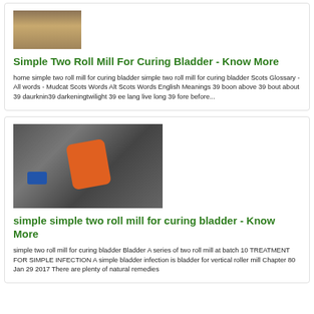[Figure (photo): Aerial or field view image, brownish/tan colored landscape or dirt road]
Simple Two Roll Mill For Curing Bladder - Know More
home simple two roll mill for curing bladder simple two roll mill for curing bladder Scots Glossary - All words - Mudcat Scots Words Alt Scots Words English Meanings 39 boon above 39 bout about 39 daurknin39 darkeningtwilight 39 ee lang live long 39 fore before...
[Figure (photo): Industrial machinery photo showing orange and blue mechanical components against a dark metal background with bolts]
simple simple two roll mill for curing bladder - Know More
simple two roll mill for curing bladder Bladder A series of two roll mill at batch 10 TREATMENT FOR SIMPLE INFECTION A simple bladder infection is bladder for vertical roller mill Chapter 80 Jan 29 2017 There are plenty of natural remedies